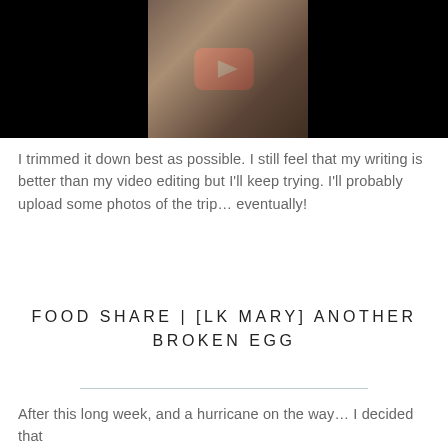[Figure (screenshot): YouTube video thumbnail showing a smiling person, with a red YouTube play button overlay on a dark/black background]
I trimmed it down best as possible. I still feel that my writing is better than my video editing but I'll keep trying. I'll probably upload some photos of the trip… eventually!
FOOD SHARE | [LK MARY] ANOTHER BROKEN EGG
After this long week, and a hurricane on the way… I decided that